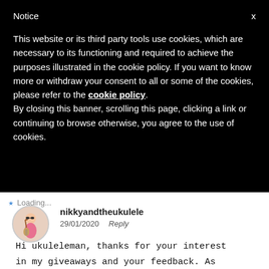Notice
This website or its third party tools use cookies, which are necessary to its functioning and required to achieve the purposes illustrated in the cookie policy. If you want to know more or withdraw your consent to all or some of the cookies, please refer to the cookie policy.
By closing this banner, scrolling this page, clicking a link or continuing to browse otherwise, you agree to the use of cookies.
Loading...
nikkyandtheukulele
29/01/2020  Reply
Hi ukuleleman, thanks for your interest in my giveaways and your feedback. As